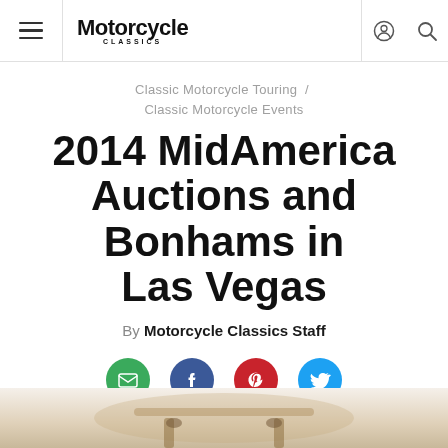Motorcycle Classics
Classic Motorcycle Touring / Classic Motorcycle Events
2014 MidAmerica Auctions and Bonhams in Las Vegas
By Motorcycle Classics Staff
[Figure (photo): Partial view of a classic motorcycle, bottom of page, warm beige tones]